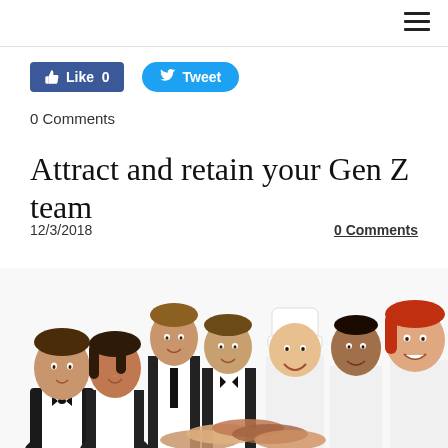Like 0   Tweet
0 Comments
Attract and retain your Gen Z team
12/3/2018
0 Comments
[Figure (photo): Group of restaurant staff in uniforms — waiters in black and white, a chef in white hat, smiling and posing together in a line, stacking hands in the center]